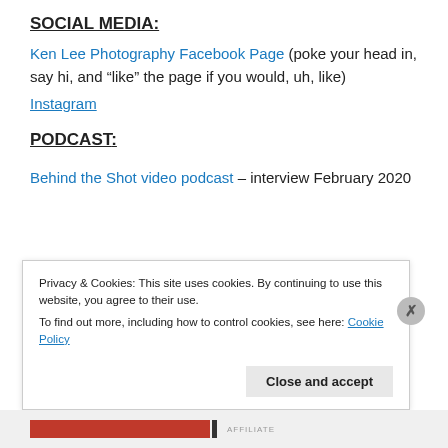SOCIAL MEDIA:
Ken Lee Photography Facebook Page (poke your head in, say hi, and “like” the page if you would, uh, like)
Instagram
PODCAST:
Behind the Shot video podcast – interview February 2020
Privacy & Cookies: This site uses cookies. By continuing to use this website, you agree to their use.
To find out more, including how to control cookies, see here: Cookie Policy
Close and accept